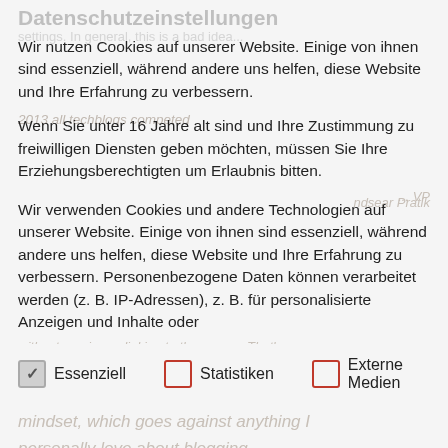Datenschutzeinstellungen
Wir nutzen Cookies auf unserer Website. Einige von ihnen sind essenziell, während andere uns helfen, diese Website und Ihre Erfahrung zu verbessern.
Wenn Sie unter 16 Jahre alt sind und Ihre Zustimmung zu freiwilligen Diensten geben möchten, müssen Sie Ihre Erziehungsberechtigten um Erlaubnis bitten.
Wir verwenden Cookies und andere Technologien auf unserer Website. Einige von ihnen sind essenziell, während andere uns helfen, diese Website und Ihre Erfahrung zu verbessern. Personenbezogene Daten können verarbeitet werden (z. B. IP-Adressen), z. B. für personalisierte Anzeigen und Inhalte oder
Essenziell
Statistiken
Externe Medien
To be clear: If you use content from other sites, you should always quote, name oder link to your source. There are two reasons for this: First it is important to be honest about your source.